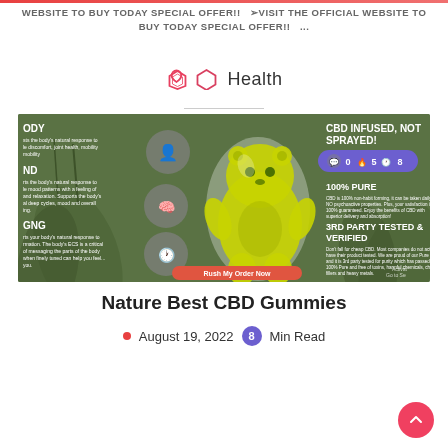WEBSITE TO BUY TODAY SPECIAL OFFER!!  ➢VISIT THE OFFICIAL WEBSITE TO BUY TODAY SPECIAL OFFER!!  ...
Health
[Figure (infographic): CBD gummies infographic showing a large green gummy bear in the center, with icons for body, mind, and aging on the left side, and text on the right reading 'CBD INFUSED, NOT SPRAYED!', '100% PURE', '3RD PARTY TESTED & VERIFIED'. A purple pill-shaped badge shows 0, 5, 8. A red button says 'Rush My Order Now'.]
Nature Best CBD Gummies
August 19, 2022  8 Min Read